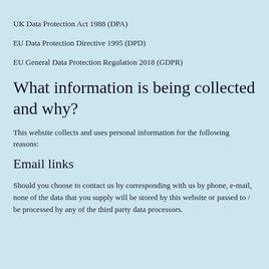UK Data Protection Act 1988 (DPA)
EU Data Protection Directive 1995 (DPD)
EU General Data Protection Regulation 2018 (GDPR)
What information is being collected and why?
This website collects and uses personal information for the following reasons:
Email links
Should you choose to contact us by corresponding with us by phone, e-mail, none of the data that you supply will be stored by this website or passed to / be processed by any of the third party data processors.